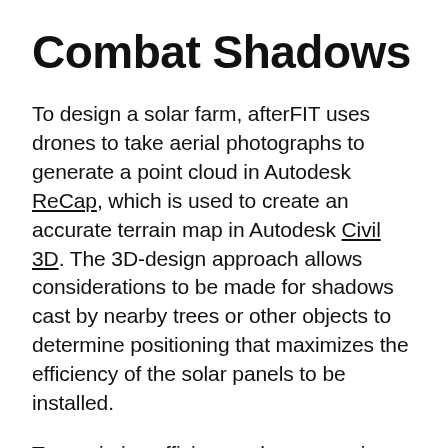Combat Shadows
To design a solar farm, afterFIT uses drones to take aerial photographs to generate a point cloud in Autodesk ReCap, which is used to create an accurate terrain map in Autodesk Civil 3D. The 3D-design approach allows considerations to be made for shadows cast by nearby trees or other objects to determine positioning that maximizes the efficiency of the solar panels to be installed.
To maximize efficiency when arranging solar panels, panels cannot cast shadows on each other. According to studies by afterFIT, casting just a 3-centimeter shadow over the edge of a panel can reduce the power it generates by more than 30%. The...